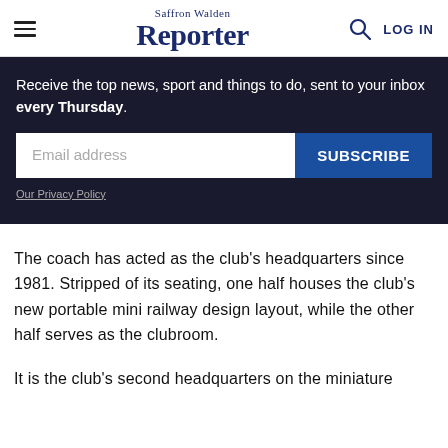Saffron Walden Reporter | LOG IN
Receive the top news, sport and things to do, sent to your inbox every Thursday.
Email address  SUBSCRIBE
Our Privacy Policy
The coach has acted as the club’s headquarters since 1981. Stripped of its seating, one half houses the club’s new portable mini railway design layout, while the other half serves as the clubroom.
It is the club’s second headquarters on the miniature